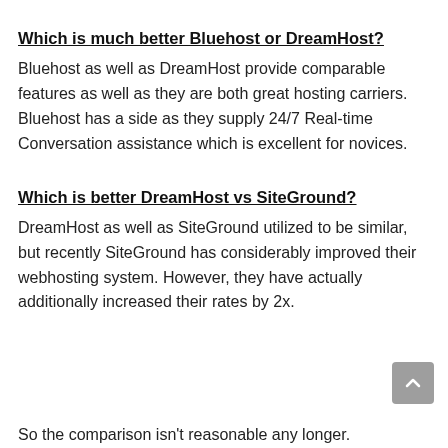Which is much better Bluehost or DreamHost?
Bluehost as well as DreamHost provide comparable features as well as they are both great hosting carriers. Bluehost has a side as they supply 24/7 Real-time Conversation assistance which is excellent for novices.
Which is better DreamHost vs SiteGround?
DreamHost as well as SiteGround utilized to be similar, but recently SiteGround has considerably improved their webhosting system. However, they have actually additionally increased their rates by 2x.
So the comparison isn't reasonable any longer.